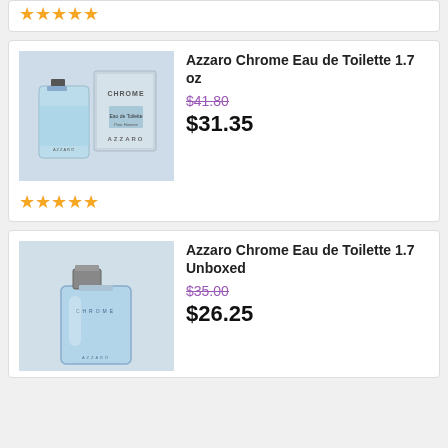★★★★★ (stars rating - top partial card)
[Figure (photo): Azzaro Chrome Eau de Toilette 1.7 oz product photo showing fragrance bottle and box]
Azzaro Chrome Eau de Toilette 1.7 oz
$41.80 (strikethrough price)
$31.35
★★★★★ (stars rating)
[Figure (photo): Azzaro Chrome Eau de Toilette 1.7 Unboxed product photo showing fragrance bottle without box]
Azzaro Chrome Eau de Toilette 1.7 Unboxed
$35.00 (strikethrough price)
$26.25